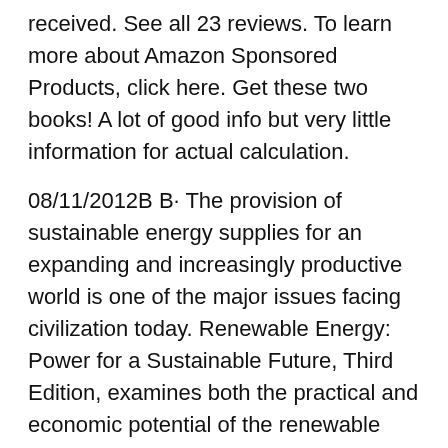received. See all 23 reviews. To learn more about Amazon Sponsored Products, click here. Get these two books! A lot of good info but very little information for actual calculation.
08/11/2012В В· The provision of sustainable energy supplies for an expanding and increasingly productive world is one of the major issues facing civilization today. Renewable Energy: Power for a Sustainable Future, Third Edition, examines both the practical and economic potential of the renewable energy sources to meet this challenge. RENEWABLE ENERGY BOOKS Renewable Energy: Power for a Sustainable Future Booksellers: Third Edition Sustainable Development Renewable Energy Waste Гўв,¬ www.sustainable-